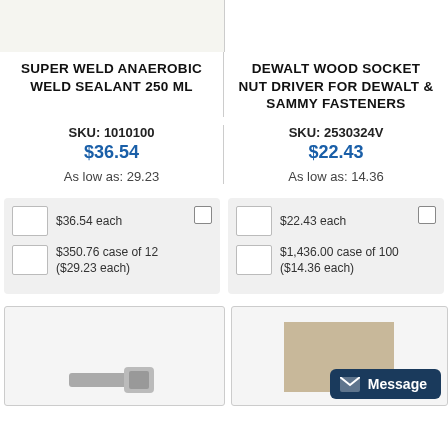[Figure (photo): Top portion of two product images — left shows white/cream product on light background, right shows product on white background]
SUPER WELD ANAEROBIC WELD SEALANT 250 ML
DEWALT WOOD SOCKET NUT DRIVER FOR DEWALT & SAMMY FASTENERS
SKU: 1010100
$36.54
As low as: 29.23
SKU: 2530324V
$22.43
As low as: 14.36
$36.54 each
$350.76 case of 12 ($29.23 each)
$22.43 each
$1,436.00 case of 100 ($14.36 each)
[Figure (photo): Bottom left: silver metallic socket/nut driver tool; Bottom right: tan/beige product with metallic fasteners, with a dark navy Message button overlay]